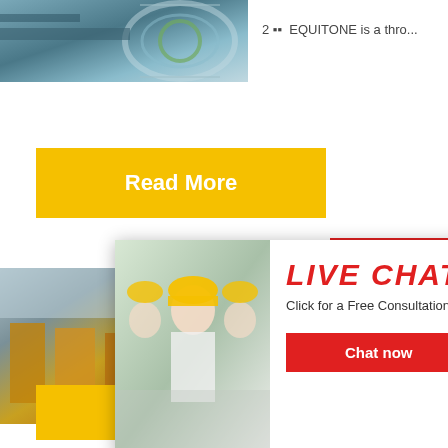[Figure (photo): Industrial machinery photo at top left, showing large circular metal structure with green accents]
2 ▪▪  EQUITONE is a thro...
[Figure (illustration): Yellow 'Read More' button]
[Figure (photo): Industrial crushing/mining equipment photo showing orange/yellow machinery in a factory]
[Figure (screenshot): Live Chat popup overlay with workers in yellow hard hats, red LIVE CHAT title, Chat now and Chat later buttons]
2021-12-1
[Figure (illustration): Yellow 'Read More' button]
[Figure (infographic): Right sidebar with '4Hrs Online', customer service representative, 'Need questions & suggestion?', Chat Now, Enquiry, limingjlmofen sections]